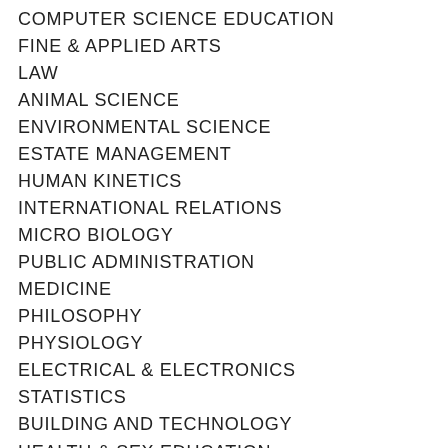COMPUTER SCIENCE EDUCATION
FINE & APPLIED ARTS
LAW
ANIMAL SCIENCE
ENVIRONMENTAL SCIENCE
ESTATE MANAGEMENT
HUMAN KINETICS
INTERNATIONAL RELATIONS
MICRO BIOLOGY
PUBLIC ADMINISTRATION
MEDICINE
PHILOSOPHY
PHYSIOLOGY
ELECTRICAL & ELECTRONICS
STATISTICS
BUILDING AND TECHNOLOGY
HEALTH & SEX EDUCATION
HISTORY
INFORMATION TECHNOLOGY